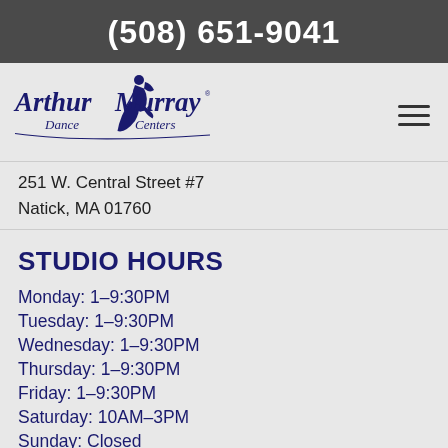(508) 651-9041
[Figure (logo): Arthur Murray Dance Centers logo in navy blue with dancing figure silhouette]
251 W. Central Street #7
Natick, MA 01760
STUDIO HOURS
Monday: 1–9:30PM
Tuesday: 1–9:30PM
Wednesday: 1–9:30PM
Thursday: 1–9:30PM
Friday: 1–9:30PM
Saturday: 10AM–3PM
Sunday: Closed
Links